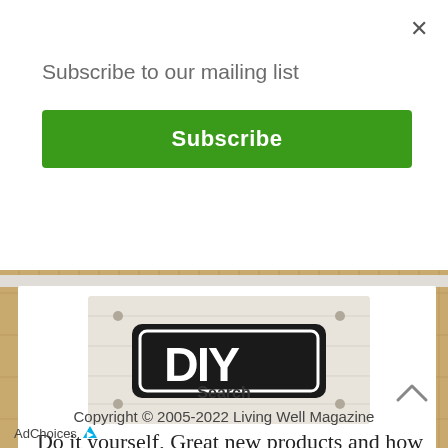Subscribe to our mailing list
Subscribe
[Figure (illustration): DIY sign: black rounded-rectangle badge with white distressed block letters DIY, mounted on a white weathered wooden board]
Do it yourself, Great new products and how to's
Search
Copyright © 2005-2022 Living Well Magazine
AdChoices